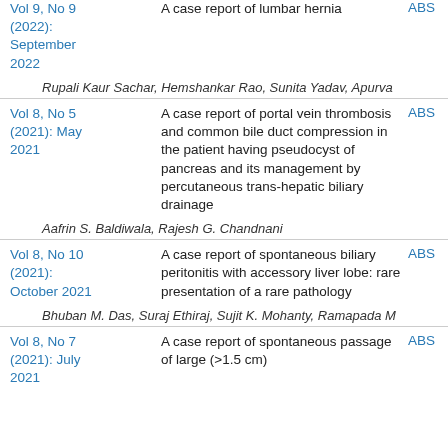Vol 9, No 9 (2022): September 2022
A case report of lumbar hernia
ABS
Rupali Kaur Sachar, Hemshankar Rao, Sunita Yadav, Apurva
Vol 8, No 5 (2021): May 2021
A case report of portal vein thrombosis and common bile duct compression in the patient having pseudocyst of pancreas and its management by percutaneous trans-hepatic biliary drainage
ABS
Aafrin S. Baldiwala, Rajesh G. Chandnani
Vol 8, No 10 (2021): October 2021
A case report of spontaneous biliary peritonitis with accessory liver lobe: rare presentation of a rare pathology
ABS
Bhuban M. Das, Suraj Ethiraj, Sujit K. Mohanty, Ramapada M
Vol 8, No 7 (2021): July 2021
A case report of spontaneous passage of large (>1.5 cm)
ABS